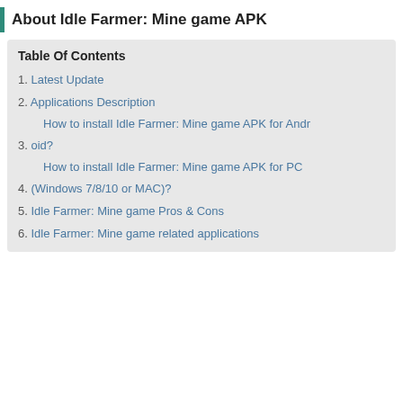About Idle Farmer: Mine game APK
Table Of Contents
1. Latest Update
2. Applications Description
How to install Idle Farmer: Mine game APK for Android?
3. oid?
How to install Idle Farmer: Mine game APK for PC
4. (Windows 7/8/10 or MAC)?
5. Idle Farmer: Mine game Pros & Cons
6. Idle Farmer: Mine game related applications